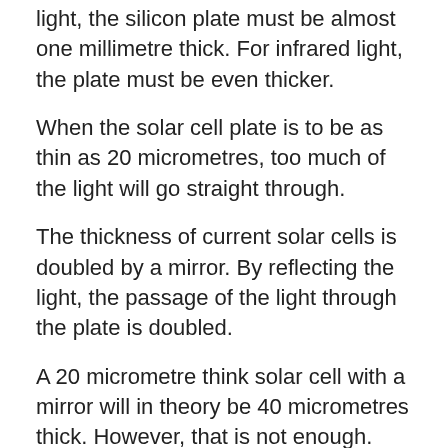light, the silicon plate must be almost one millimetre thick. For infrared light, the plate must be even thicker.
When the solar cell plate is to be as thin as 20 micrometres, too much of the light will go straight through.
The thickness of current solar cells is doubled by a mirror. By reflecting the light, the passage of the light through the plate is doubled.
A 20 micrometre think solar cell with a mirror will in theory be 40 micrometres thick. However, that is not enough. Furthermore, the current mirrors are far from perfect: they only